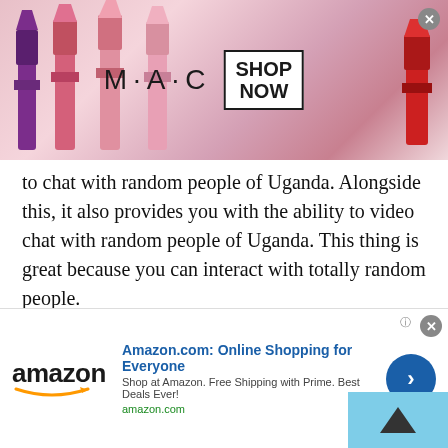[Figure (photo): MAC cosmetics advertisement banner with lipsticks and SHOP NOW box]
to chat with random people of Uganda. Alongside this, it also provides you with the ability to video chat with random people of Uganda. This thing is great because you can interact with totally random people.
These random people could be maybe the richest of Uganda or the poorest of Uganda. So, you have a chance that you can get to see and chat with both the rich and poor people of Uganda. You can also ask these strangers to share pictures with you and
[Figure (screenshot): Amazon.com advertisement banner: 'Online Shopping for Everyone', with logo, tagline and arrow button]